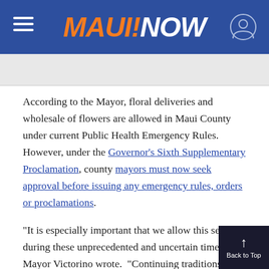MAUI NOW
According to the Mayor, floral deliveries and wholesale of flowers are allowed in Maui County under current Public Health Emergency Rules.  However, under the Governor's Sixth Supplementary Proclamation, county mayors must now seek approval before issuing any emergency rules, orders or proclamations.
“It is especially important that we allow this service during these unprecedented and uncertain times,” Mayor Victorino wrote.  “Continuing traditions li… buying flowers for our mothers helps us conv…